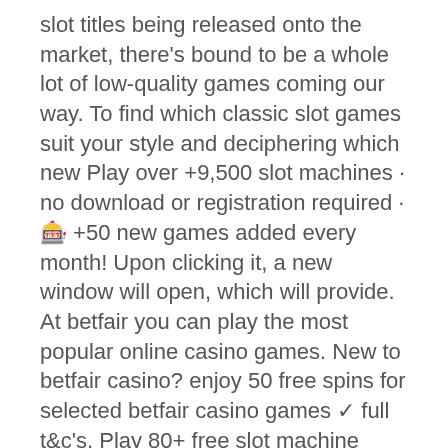slot titles being released onto the market, there's bound to be a whole lot of low-quality games coming our way. To find which classic slot games suit your style and deciphering which new Play over +9,500 slot machines · no download or registration required · 🎰 +50 new games added every month! Upon clicking it, a new window will open, which will provide. At betfair you can play the most popular online casino games. New to betfair casino? enjoy 50 free spins for selected betfair casino games ✓ full t&amp;c's. Play 80+ free slot machine games online! have fun with free slots and earn rewards points for casinos across the us. No download &amp; no deposit required. Slots – free vegas casino slot machine games online for free with now. Socialize and make new friends while you enjoy some of the very best. Now your favorite casino games, from slots and video poker to blackjack and bingo,